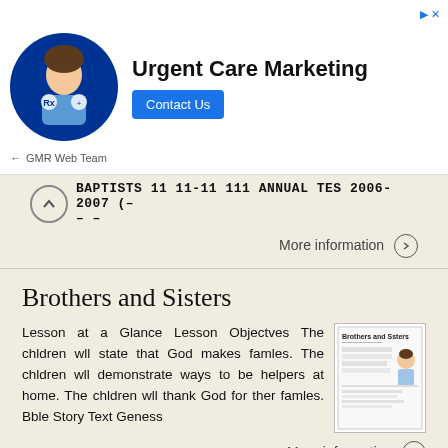[Figure (other): Advertisement banner: Urgent Care Marketing with GMR Web Team, showing a photo of a young person in medical attire, a Contact Us button, and ad icons.]
BAPTISTS 11 11-11 111 ANNUAL TES 2006-2007 (- - -
More information →
Brothers and Sisters
Lesson at a Glance Lesson Objectves The chldren wll state that God makes famles. The chldren wll demonstrate ways to be helpers at home. The chldren wll thank God for ther famles. Bble Story Text Geness
[Figure (other): Thumbnail image of a Brothers and Sisters lesson page document.]
More information →
We Go to Church. Lesson at a Glance.
Worshiping God Lesson Objectives Lesson...